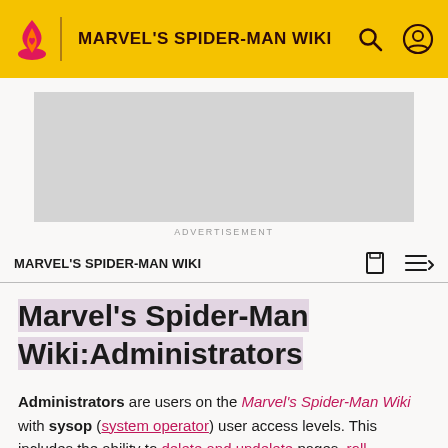MARVEL'S SPIDER-MAN WIKI
[Figure (other): Gray advertisement placeholder box with label ADVERTISEMENT below]
ADVERTISEMENT
MARVEL'S SPIDER-MAN WIKI
Marvel's Spider-Man Wiki:Administrators
Administrators are users on the Marvel's Spider-Man Wiki with sysop (system operator) user access levels. This includes the ability to delete and undelete pages, roll